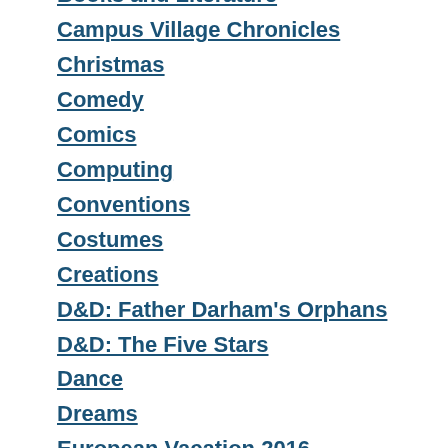Books and Literature
Campus Village Chronicles
Christmas
Comedy
Comics
Computing
Conventions
Costumes
Creations
D&D: Father Darham's Orphans
D&D: The Five Stars
Dance
Dreams
European Vacation 2016
Events
Featured Content
Fitness
Food
Food I Prepared